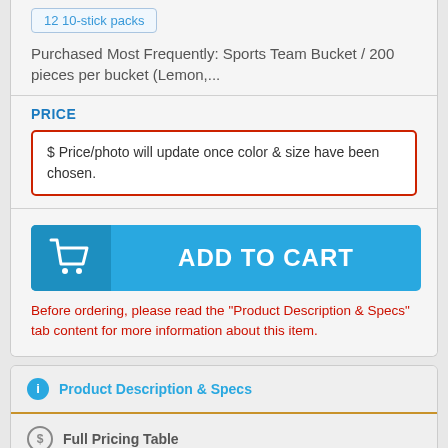12 10-stick packs
Purchased Most Frequently: Sports Team Bucket / 200 pieces per bucket (Lemon,...
PRICE
$ Price/photo will update once color & size have been chosen.
[Figure (other): ADD TO CART button with shopping cart icon]
Before ordering, please read the "Product Description & Specs" tab content for more information about this item.
Product Description & Specs
Full Pricing Table
Related Products